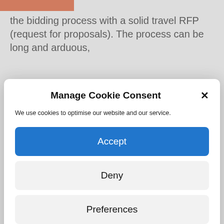the bidding process with a solid travel RFP (request for proposals). The process can be long and arduous,
Manage Cookie Consent
We use cookies to optimise our website and our service.
Accept
Deny
Preferences
Cookie Policy   Privacy Policy
is influenced by supplier levels. The higher that rating, the more a business can claim towards its procurement spend.